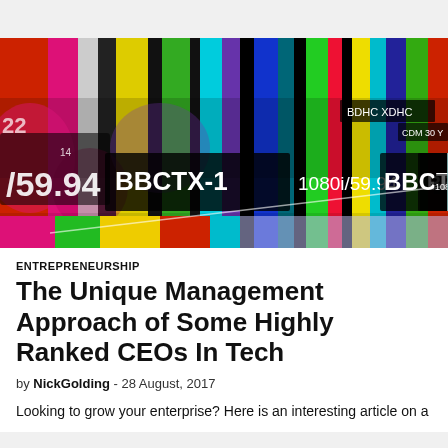[Figure (photo): TV broadcast color bars test pattern with text overlays showing 'BBCTX-1', '1080i/59.94', 'BBCTX-2', and '59.94' on colorful vertical stripes]
ENTREPRENEURSHIP
The Unique Management Approach of Some Highly Ranked CEOs In Tech
by NickGolding - 28 August, 2017
Looking to grow your enterprise? Here is an interesting article on a